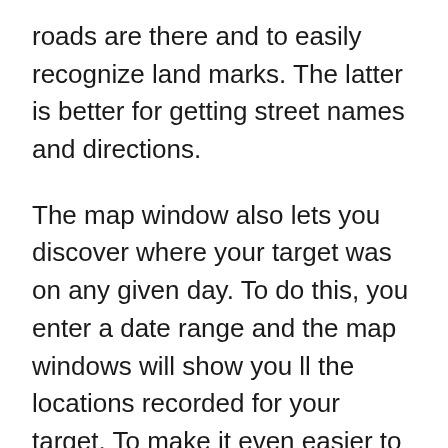roads are there and to easily recognize land marks. The latter is better for getting street names and directions.
The map window also lets you discover where your target was on any given day. To do this, you enter a date range and the map windows will show you ll the locations recorded for your target. To make it even easier to understand their route, you can use the ANIMATE tool to see each co-ordinate of the phone drop in place on to the math and join together to form a path of where the TARGET